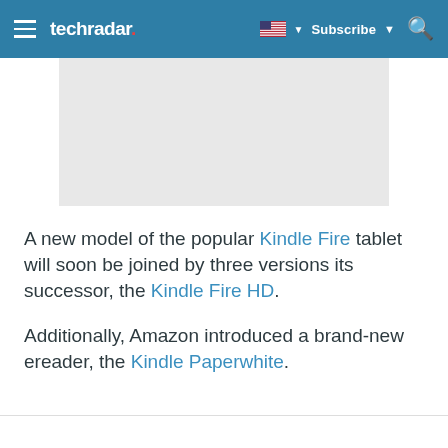techradar — Subscribe
[Figure (photo): Light gray image placeholder rectangle]
A new model of the popular Kindle Fire tablet will soon be joined by three versions its successor, the Kindle Fire HD.
Additionally, Amazon introduced a brand-new ereader, the Kindle Paperwhite.